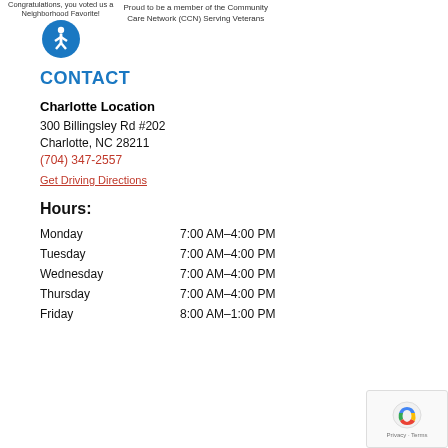Congratulations, you voted us a Neighborhood Favorite!
Proud to be a member of the Community Care Network (CCN) Serving Veterans
[Figure (illustration): Blue circular accessibility icon with white figure in wheelchair/person pose]
CONTACT
Charlotte Location
300 Billingsley Rd #202
Charlotte, NC 28211
(704) 347-2557
Get Driving Directions
Hours:
| Day | Hours |
| --- | --- |
| Monday | 7:00 AM–4:00 PM |
| Tuesday | 7:00 AM–4:00 PM |
| Wednesday | 7:00 AM–4:00 PM |
| Thursday | 7:00 AM–4:00 PM |
| Friday | 8:00 AM–1:00 PM |
[Figure (logo): reCAPTCHA privacy badge with robot icon and Privacy - Terms text]